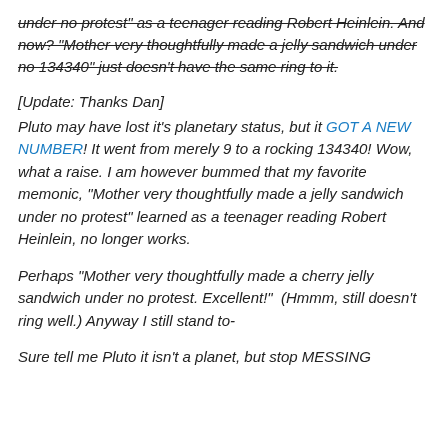under no protest" as a teenager reading Robert Heinlein. And now? "Mother very thoughtfully made a jelly sandwich under no 134340" just doesn't have the same ring to it.
[Update: Thanks Dan]
Pluto may have lost it's planetary status, but it GOT A NEW NUMBER! It went from merely 9 to a rocking 134340! Wow, what a raise. I am however bummed that my favorite memonic, "Mother very thoughtfully made a jelly sandwich under no protest" learned as a teenager reading Robert Heinlein, no longer works.
Perhaps “Mother very thoughtfully made a cherry jelly sandwich under no protest. Excellent!”  (Hmmm, still doesn’t ring well.) Anyway I still stand to-
Sure tell me Pluto it isn’t a planet, but stop MESSING